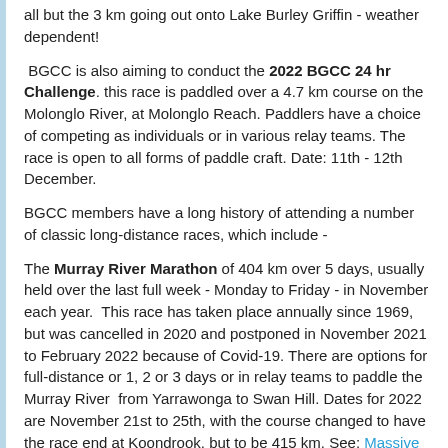all but the 3 km going out onto Lake Burley Griffin - weather dependent!
BGCC is also aiming to conduct the 2022 BGCC 24 hr Challenge. this race is paddled over a 4.7 km course on the Molonglo River, at Molonglo Reach. Paddlers have a choice of competing as individuals or in various relay teams. The race is open to all forms of paddle craft. Date: 11th - 12th December.
BGCC members have a long history of attending a number of classic long-distance races, which include -
The Murray River Marathon of 404 km over 5 days, usually held over the last full week - Monday to Friday - in November each year. This race has taken place annually since 1969, but was cancelled in 2020 and postponed in November 2021 to February 2022 because of Covid-19. There are options for full-distance or 1, 2 or 3 days or in relay teams to paddle the Murray River from Yarrawonga to Swan Hill. Dates for 2022 are November 21st to 25th, with the course changed to have the race end at Koondrook, but to be 415 km. See: Massive Murray Paddle
The Hawkesbury Canoe Classic of 111 km overnight on the last weekend in October each year. Once again, paddlers can travel on the Hawkesbury River the full race distance, from Windsor to Mooney Mooney, or the 65 km "Dash", from